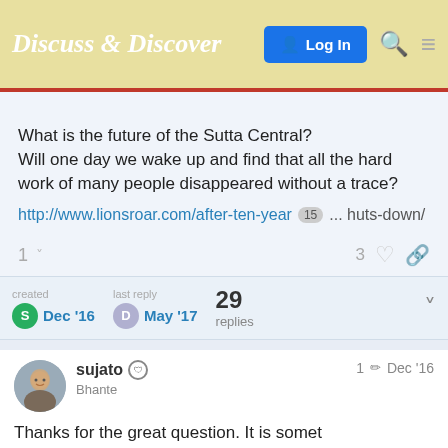Discuss & Discover  Log In
What is the future of the Sutta Central?
Will one day we wake up and find that all the hard work of many people disappeared without a trace?
http://www.lionsroar.com/after-ten-year 15 ... huts-down/
1  3 ♡ 🔗
created Dec '16  last reply May '17  29 replies
sujato 🛡 Bhante  1 ✏ Dec '16
Thanks for the great question. It is something that concerns me a great deal. For me, it is one of the pr
1/30